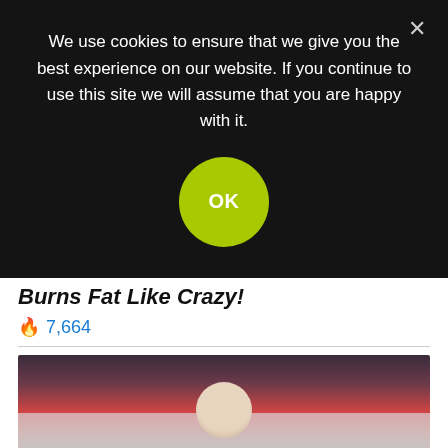We use cookies to ensure that we give you the best experience on our website. If you continue to use this site we will assume that you are happy with it.
OK
Burns Fat Like Crazy!
🔥 7,664
Sponsored Ad
Children's education is suffering because of poor mental health experienced by many teachers, according to new research.
[Figure (photo): Partially visible photo of a person, cropped at top and bottom, with a colorful background (red/dark tones), showing mainly the top of a head.]